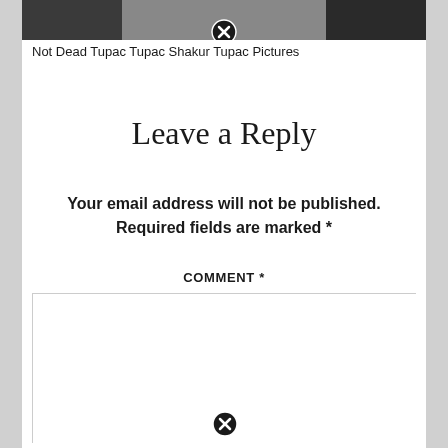[Figure (photo): Partial black and white photograph strip at top of page with a close/delete icon overlay]
Not Dead Tupac Tupac Shakur Tupac Pictures
Leave a Reply
Your email address will not be published. Required fields are marked *
COMMENT *
[Figure (screenshot): Empty comment text area input box with a close/delete icon at the bottom center]